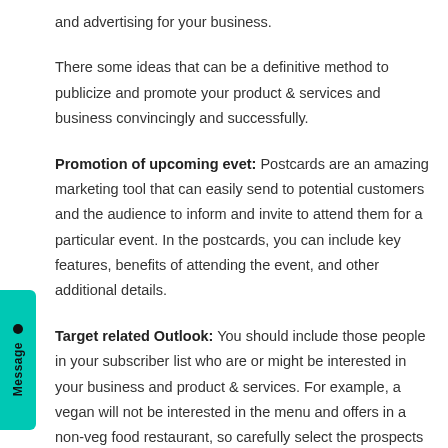and advertising for your business.
There some ideas that can be a definitive method to publicize and promote your product & services and business convincingly and successfully.
Promotion of upcoming evet: Postcards are an amazing marketing tool that can easily send to potential customers and the audience to inform and invite to attend them for a particular event. In the postcards, you can include key features, benefits of attending the event, and other additional details.
Target related Outlook: You should include those people in your subscriber list who are or might be interested in your business and product & services. For example, a vegan will not be interested in the menu and offers in a non-veg food restaurant, so carefully select the prospects for your marketing campaign.
Create a campaign. – One-time postcard mailing will not